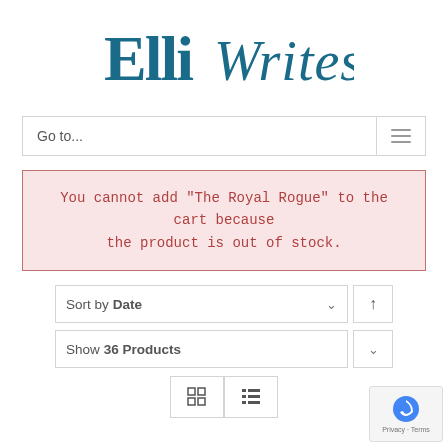[Figure (logo): ElliWrites logo in teal/dark blue serif and italic script font]
Go to...
You cannot add "The Royal Rogue" to the cart because the product is out of stock.
Sort by Date
Show 36 Products
[Figure (other): Grid and list view toggle icons]
[Figure (other): Google reCAPTCHA badge with Privacy and Terms text]